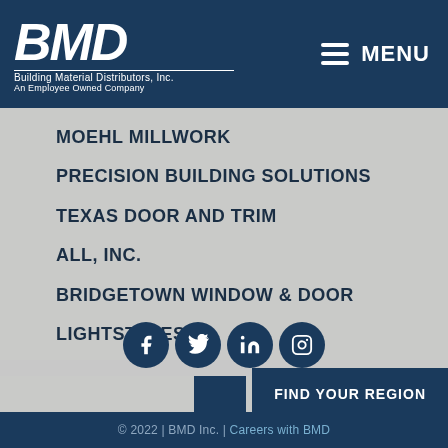[Figure (logo): BMD Building Material Distributors, Inc. An Employee Owned Company logo in white on dark navy background]
MENU
MOEHL MILLWORK
PRECISION BUILDING SOLUTIONS
TEXAS DOOR AND TRIM
ALL, INC.
BRIDGETOWN WINDOW & DOOR
LIGHTSTYLES
[Figure (infographic): Social media icons: Facebook, Twitter, LinkedIn, Instagram — dark navy circles with white icons]
FIND YOUR REGION
© 2022 | BMD Inc. | Careers with BMD